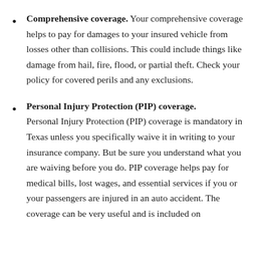Comprehensive coverage. Your comprehensive coverage helps to pay for damages to your insured vehicle from losses other than collisions. This could include things like damage from hail, fire, flood, or partial theft. Check your policy for covered perils and any exclusions.
Personal Injury Protection (PIP) coverage. Personal Injury Protection (PIP) coverage is mandatory in Texas unless you specifically waive it in writing to your insurance company. But be sure you understand what you are waiving before you do. PIP coverage helps pay for medical bills, lost wages, and essential services if you or your passengers are injured in an auto accident. The coverage can be very useful and is included on